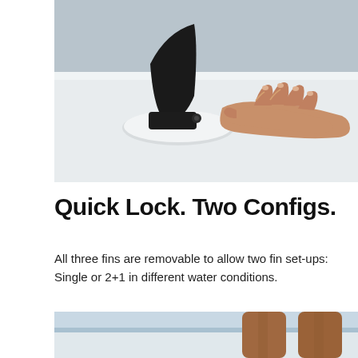[Figure (photo): Close-up photo of a hand pressing on a surfboard fin lock mechanism. A black fin is inserted into a white fin box on a white surfboard surface. A hand with fingers spread rests flat on the board next to the fin.]
Quick Lock. Two Configs.
All three fins are removable to allow two fin set-ups: Single or 2+1 in different water conditions.
[Figure (photo): Partial photo showing legs of a person standing on or near a surfboard, with blue sky and water visible in the background.]